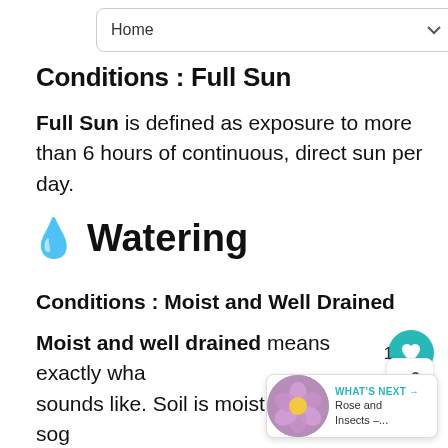Home
Conditions : Full Sun
Full Sun is defined as exposure to more than 6 hours of continuous, direct sun per day.
💧 Watering
Conditions : Moist and Well Drained
Moist and well drained means exactly what it sounds like. Soil is moist without being sog… because the texture of the soil allows excess moisture to drain away. Most plants… 1 inch of water per week. Amending your soil